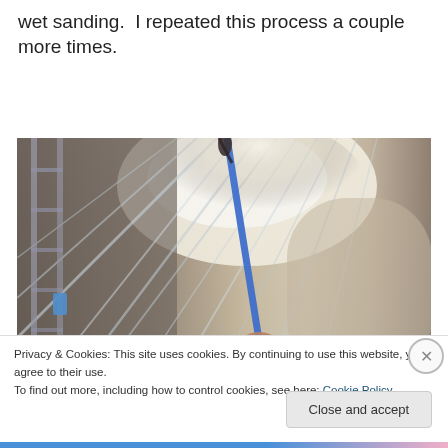wet sanding.  I repeated this process a couple more times.
[Figure (photo): A person holding a blue pole/spray wand, with large clear plastic sheeting draped over walls and extending across a room, likely in a painting or renovation context.]
Privacy & Cookies: This site uses cookies. By continuing to use this website, you agree to their use.
To find out more, including how to control cookies, see here: Cookie Policy
Close and accept